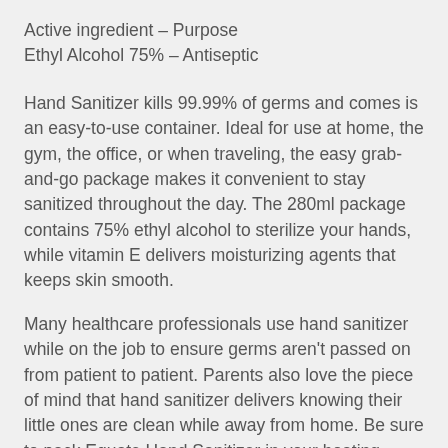Active ingredient – Purpose
Ethyl Alcohol 75% – Antiseptic
Hand Sanitizer kills 99.99% of germs and comes is an easy-to-use container. Ideal for use at home, the gym, the office, or when traveling, the easy grab-and-go package makes it convenient to stay sanitized throughout the day. The 280ml package contains 75% ethyl alcohol to sterilize your hands, while vitamin E delivers moisturizing agents that keeps skin smooth.
Many healthcare professionals use hand sanitizer while on the job to ensure germs aren't passed on from patient to patient. Parents also love the piece of mind that hand sanitizer delivers knowing their little ones are clean while away from home. Be sure to pack Equate Hand Sanitizer in your boating,